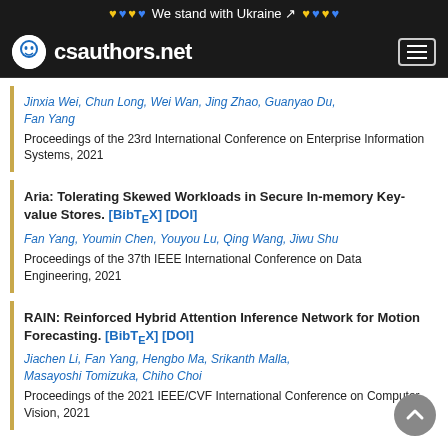We stand with Ukraine
csauthors.net
Jinxia Wei, Chun Long, Wei Wan, Jing Zhao, Guanyao Du, Fan Yang
Proceedings of the 23rd International Conference on Enterprise Information Systems, 2021
Aria: Tolerating Skewed Workloads in Secure In-memory Key-value Stores. [BibTeX] [DOI]
Fan Yang, Youmin Chen, Youyou Lu, Qing Wang, Jiwu Shu
Proceedings of the 37th IEEE International Conference on Data Engineering, 2021
RAIN: Reinforced Hybrid Attention Inference Network for Motion Forecasting. [BibTeX] [DOI]
Jiachen Li, Fan Yang, Hengbo Ma, Srikanth Malla, Masayoshi Tomizuka, Chiho Choi
Proceedings of the 2021 IEEE/CVF International Conference on Computer Vision, 2021